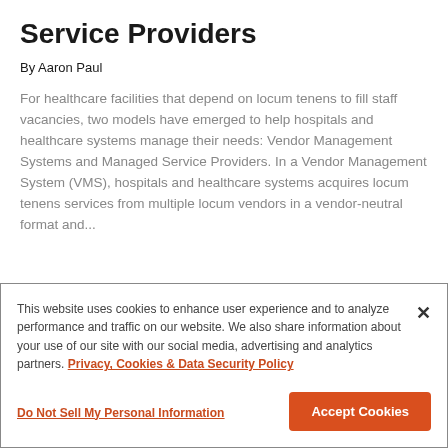Service Providers
By Aaron Paul
For healthcare facilities that depend on locum tenens to fill staff vacancies, two models have emerged to help hospitals and healthcare systems manage their needs: Vendor Management Systems and Managed Service Providers. In a Vendor Management System (VMS), hospitals and healthcare systems acquires locum tenens services from multiple locum vendors in a vendor-neutral format and...
This website uses cookies to enhance user experience and to analyze performance and traffic on our website. We also share information about your use of our site with our social media, advertising and analytics partners. Privacy, Cookies & Data Security Policy
Do Not Sell My Personal Information
Accept Cookies